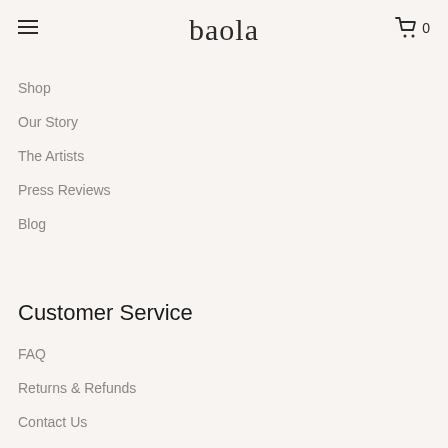baola
Shop
Our Story
The Artists
Press Reviews
Blog
Customer Service
FAQ
Returns & Refunds
Contact Us